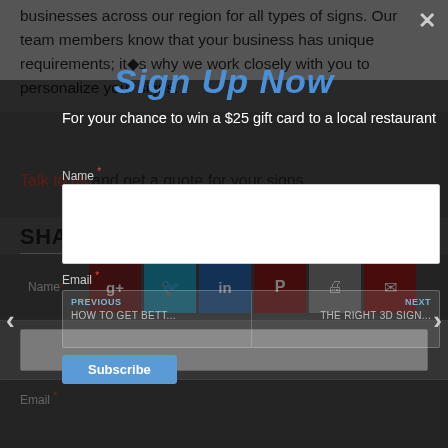businesses across our region for all types of signs. Our team members know that your business has unique requirements; it's why we work closely with you to personalize your signs.
Talk to us and get a quote for your signs.
SHARE THIS POST
[Figure (screenshot): Row of social sharing buttons: Google+, Twitter, LinkedIn, Pinterest, Print, Email]
Sign Up Now
For your chance to win a $25 gift card to a local restaurant
Name *
Email *
PREVIOUS
HOW TO GET BETT...
NEXT
THE RIGHT 3D SIGN...
Subscribe